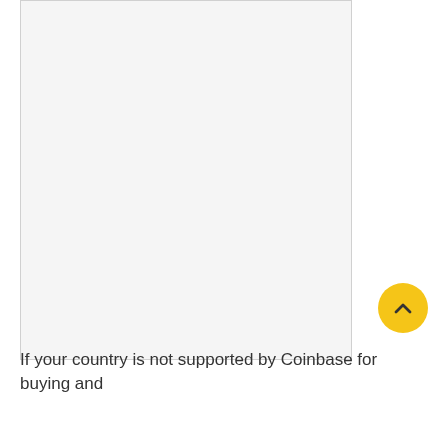[Figure (screenshot): A large light gray rectangular area representing an embedded image or screenshot placeholder]
If your country is not supported by Coinbase for buying and